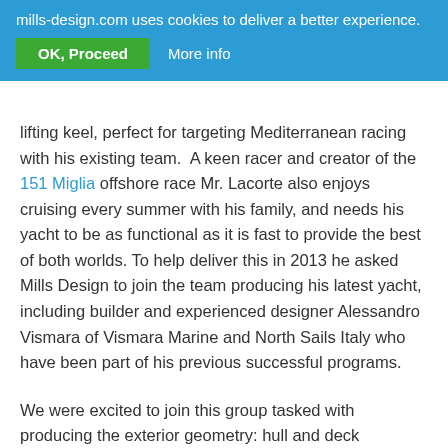mills-design.com uses cookies to deliver a better experience. OK, Proceed   More info
lifting keel, perfect for targeting Mediterranean racing with his existing team.  A keen racer and creator of the 151 Miglia offshore race Mr. Lacorte also enjoys cruising every summer with his family, and needs his yacht to be as functional as it is fast to provide the best of both worlds. To help deliver this in 2013 he asked Mills Design to join the team producing his latest yacht, including builder and experienced designer Alessandro Vismara of Vismara Marine and North Sails Italy who have been part of his previous successful programs.
We were excited to join this group tasked with producing the exterior geometry: hull and deck surfaces, appendages, and rig, allowing us to focus on performance with our R&D partners KND in Valencia, while the Vismara team produced the interior and engineering, integrating her aggressive racing character with